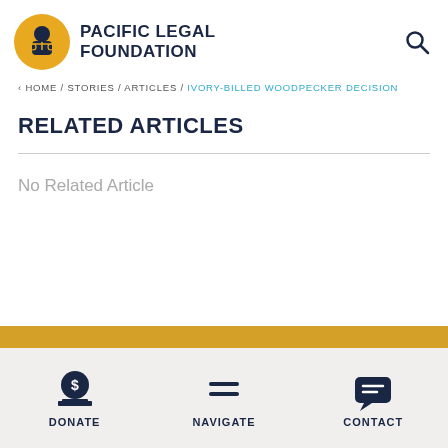PACIFIC LEGAL FOUNDATION
< HOME / STORIES / ARTICLES / IVORY-BILLED WOODPECKER DECISION
RELATED ARTICLES
No Related Article
DONATE  NAVIGATE  CONTACT